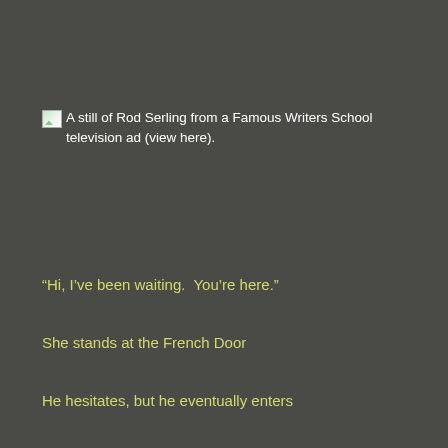A still of Rod Serling from a Famous Writers School television ad (view here).
“Hi, I’ve been waiting.  You’re here.”
She stands at the French Door
He hesitates, but he eventually enters